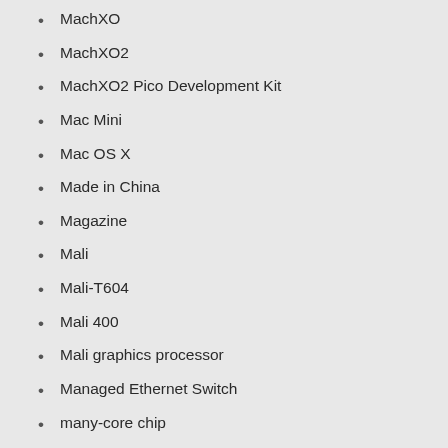MachXO
MachXO2
MachXO2 Pico Development Kit
Mac Mini
Mac OS X
Made in China
Magazine
Mali
Mali-T604
Mali 400
Mali graphics processor
Managed Ethernet Switch
many-core chip
massive open online course
Mathworks
MAX2173
MAX2181A
MAX2580
MAX2982